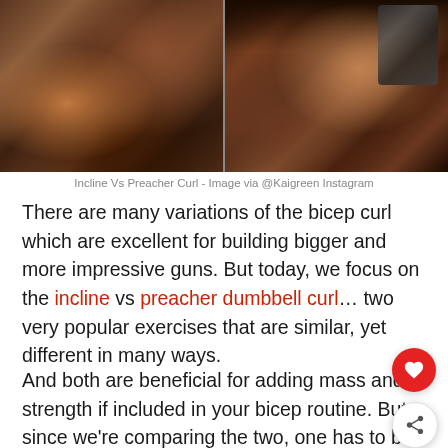[Figure (photo): Two side-by-side photos of muscular arms performing bicep curls with dumbbells in a gym setting, showing incline curl on the left and preacher curl on the right.]
Incline Vs Preacher Curl - Image via @Kaigreen Instagram
There are many variations of the bicep curl which are excellent for building bigger and more impressive guns. But today, we focus on the incline vs preacher dumbbell curl… two very popular exercises that are similar, yet different in many ways.
And both are beneficial for adding mass and strength if included in your bicep routine. But since we're comparing the two, one has to be superior